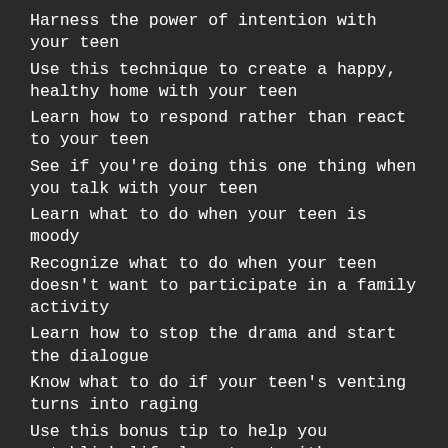Harness the power of intention with your teen
Use this technique to create a happy, healthy home with your teen
Learn how to respond rather than react to your teen
See if you're doing this one thing when you talk with your teen
Learn what to do when your teen is moody
Recognize what to do when your teen doesn't want to participate in a family activity
Learn how to stop the drama and start the dialogue
Know what to do if your teen's venting turns into raging
Use this bonus tip to help you establish life-long trust with your teen.
You'll also find out what Law of Attraction author Esther Hicks has to say about when the best time is to affirm your teen. 10 Tips for Living Happy with Your Teen will equip you with four simple steps you can begin doing